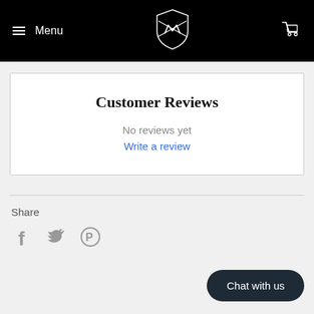Menu [logo] [cart]
Customer Reviews
No reviews yet
Write a review
Share
[Figure (other): Social share icons: Facebook, Twitter, Pinterest]
Chat with us